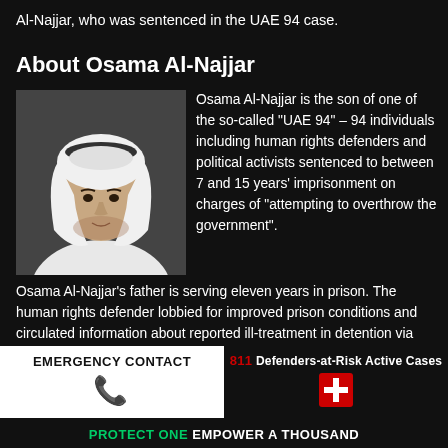Al-Najjar, who was sentenced in the UAE 94 case.
About Osama Al-Najjar
[Figure (photo): Portrait photo of Osama Al-Najjar, a young man wearing white traditional UAE headwear (ghutra) and white thobe.]
Osama Al-Najjar is the son of one of the so-called "UAE 94" – 94 individuals including human rights defenders and political activists sentenced to between 7 and 15 years' imprisonment on charges of "attempting to overthrow the government".
Osama Al-Najjar's father is serving eleven years in prison. The human rights defender lobbied for improved prison conditions and circulated information about reported ill-treatment in detention via social media websites. He also
EMERGENCY CONTACT
811 Defenders-at-Risk Active Cases
PROTECT ONE EMPOWER A THOUSAND